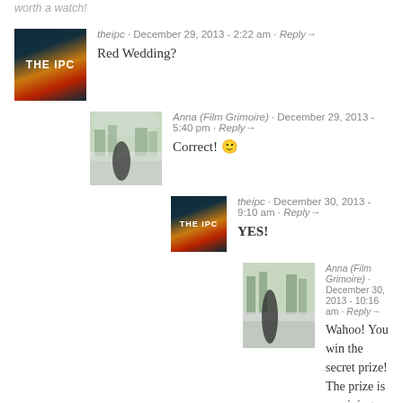worth a watch!
theipc · December 29, 2013 - 2:22 am · Reply→
Red Wedding?
Anna (Film Grimoire) · December 29, 2013 - 5:40 pm · Reply→
Correct! 🙂
theipc · December 30, 2013 - 9:10 am · Reply→
YES!
Anna (Film Grimoire) · December 30, 2013 - 10:16 am · Reply→
Wahoo! You win the secret prize! The prize is surviving the Red Wedding.